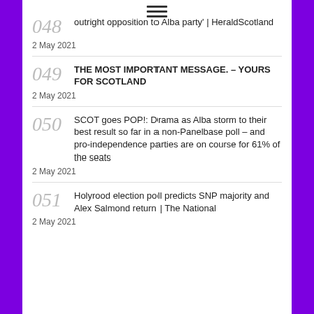[Figure (other): Hamburger menu icon (three horizontal lines)]
048 outright opposition to Alba party' | HeraldScotland
2 May 2021
049 THE MOST IMPORTANT MESSAGE. – YOURS FOR SCOTLAND
2 May 2021
050 SCOT goes POP!: Drama as Alba storm to their best result so far in a non-Panelbase poll – and pro-independence parties are on course for 61% of the seats
2 May 2021
051 Holyrood election poll predicts SNP majority and Alex Salmond return | The National
2 May 2021